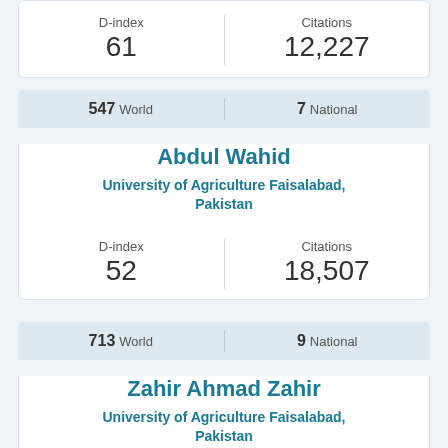| D-index | Citations |
| --- | --- |
| 61 | 12,227 |
| World | National |
| --- | --- |
| 547 World | 7 National |
Abdul Wahid
University of Agriculture Faisalabad, Pakistan
| D-index | Citations |
| --- | --- |
| 52 | 18,507 |
| World | National |
| --- | --- |
| 713 World | 9 National |
Zahir Ahmad Zahir
University of Agriculture Faisalabad, Pakistan